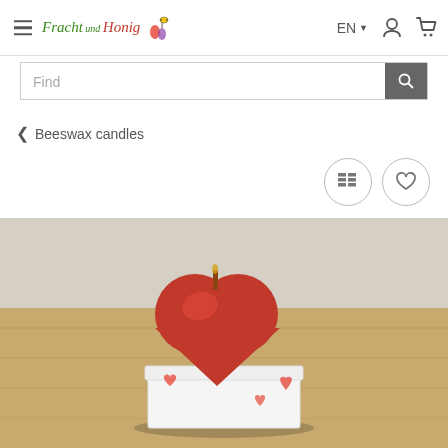Fracht und Honig — EN — user icon — cart icon
Find
< Beeswax candles
[Figure (screenshot): Two circular icon buttons: a list/details icon and a heart/wishlist icon]
[Figure (photo): Red heart-shaped beeswax candle sitting on top of a small white gift box with heart decorations, placed on a wooden surface]